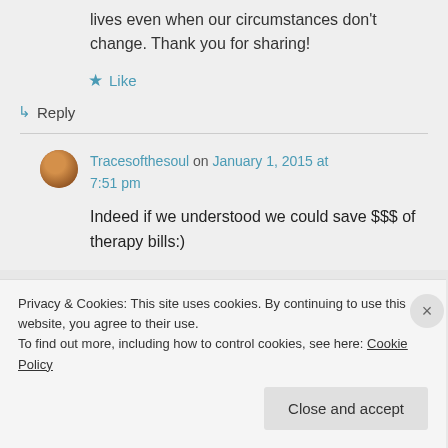lives even when our circumstances don't change. Thank you for sharing!
★ Like
↪ Reply
Tracesofthesoul on January 1, 2015 at 7:51 pm
Indeed if we understood we could save $$$ of therapy bills:)
Privacy & Cookies: This site uses cookies. By continuing to use this website, you agree to their use.
To find out more, including how to control cookies, see here: Cookie Policy
Close and accept